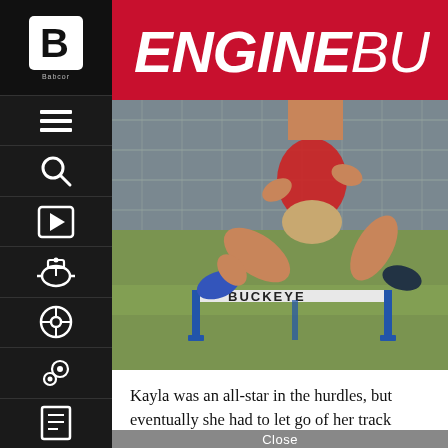ENGINE BUILDER
[Figure (photo): Person jumping over a Buckeye hurdle on a track field, wearing red top and tan shorts with blue athletic shoes]
Kayla was an all-star in the hurdles, but eventually she had to let go of her track dreams.
Close
[Figure (infographic): SEMA Show advertisement banner: WHERE CONNECTIONS ARE BUILT, with a sports car on golden background]